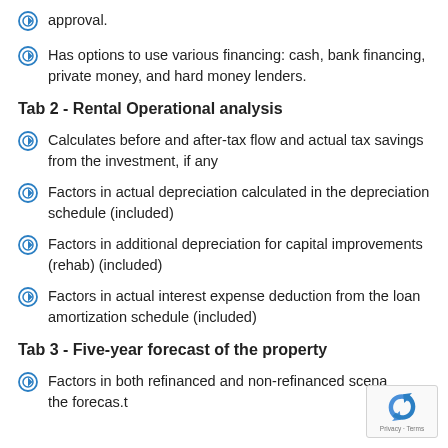approval.
Has options to use various financing: cash, bank financing, private money, and hard money lenders.
Tab 2 - Rental Operational analysis
Calculates before and after-tax flow and actual tax savings from the investment, if any
Factors in actual depreciation calculated in the depreciation schedule (included)
Factors in additional depreciation for capital improvements (rehab) (included)
Factors in actual interest expense deduction from the loan amortization schedule (included)
Tab 3 - Five-year forecast of the property
Factors in both refinanced and non-refinanced scenarios in the forecast.t